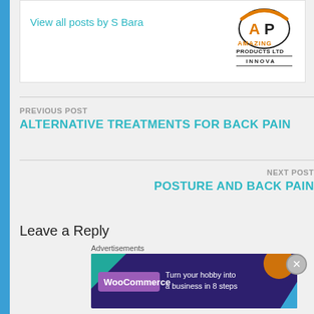View all posts by S Bara
[Figure (logo): Amazing Products Ltd / Innova logo with stylized AP letters in orange and black]
PREVIOUS POST
ALTERNATIVE TREATMENTS FOR BACK PAIN
NEXT POST
POSTURE AND BACK PAIN
Leave a Reply
Advertisements
[Figure (screenshot): WooCommerce advertisement banner: Turn your hobby into a business in 8 steps, purple background with geometric shapes]